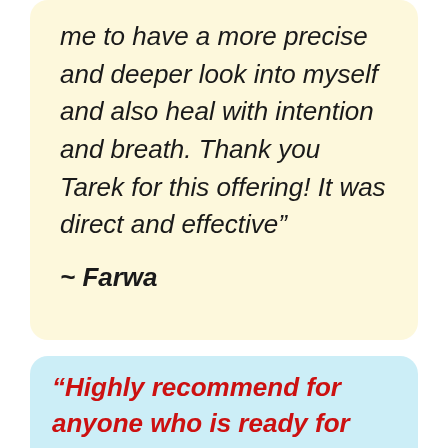me to have a more precise and deeper look into myself and also heal with intention and breath. Thank you Tarek for this offering! It was direct and effective"
~ Farwa
“Highly recommend for anyone who is ready for